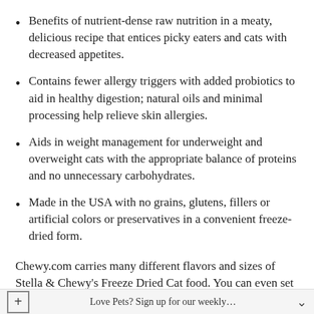Benefits of nutrient-dense raw nutrition in a meaty, delicious recipe that entices picky eaters and cats with decreased appetites.
Contains fewer allergy triggers with added probiotics to aid in healthy digestion; natural oils and minimal processing help relieve skin allergies.
Aids in weight management for underweight and overweight cats with the appropriate balance of proteins and no unnecessary carbohydrates.
Made in the USA with no grains, glutens, fillers or artificial colors or preservatives in a convenient freeze-dried form.
Chewy.com carries many different flavors and sizes of Stella & Chewy's Freeze Dried Cat food. You can even set up auto ship to make sure you never run out of your cat's favorite food and save some money. Chewy.com offers free 1-2 day shipping on orders that are over $49. They do ship super fast too. Our orders always
Love Pets? Sign up for our weekly…